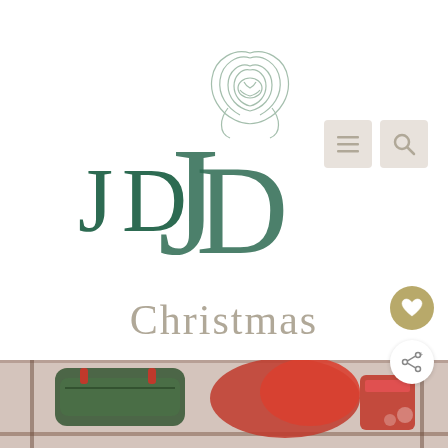[Figure (logo): JDH monogram logo with rose illustration above the letters J, D, H in dark teal/green serif font]
[Figure (infographic): Navigation icons: hamburger menu and search magnifying glass on beige rounded rectangle backgrounds]
Christmas
[Figure (infographic): Heart icon button (gold circular FAB) and share icon button (white circular FAB)]
[Figure (photo): Photo of Christmas storage bags and red containers on a shelf — green duffel bag, red stuffed bags, red storage bins]